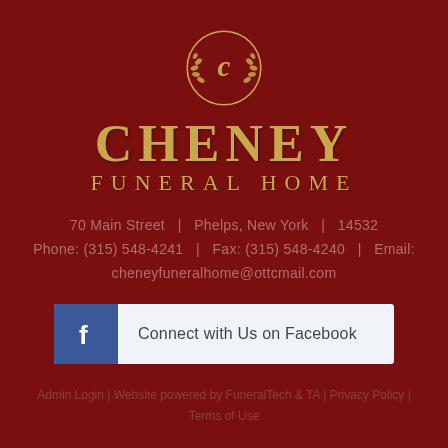[Figure (logo): Cheney Funeral Home logo: gold circular emblem with decorative laurel wreath and stylized 'C' letter in center, above the business name text]
CHENEY FUNERAL HOME
70 Main Street  |  Phelps, New York  |  14532
Phone: (315) 548-4241  |  Fax: (315) 548-4240  |  Email:
cheneyfuneralhome@ottcmail.com
[Figure (infographic): Facebook connect button: blue Facebook icon on left with white 'f' logo, white background with text 'Connect with Us on Facebook']
Admin Login | Website powered by FuneralTech & TA | Privacy Policy | Terms of Use